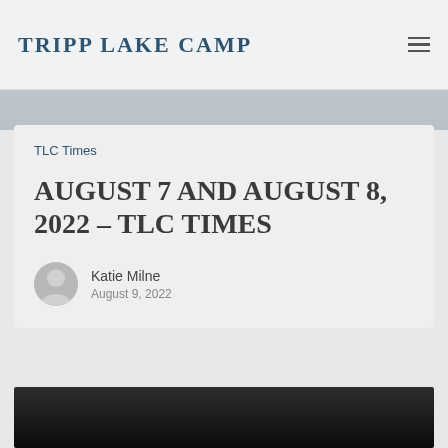TRIPP LAKE CAMP
TLC Times
AUGUST 7 AND AUGUST 8, 2022 – TLC TIMES
Katie Milne
August 9, 2022
[Figure (photo): Dark photograph partially visible at the bottom of the page]